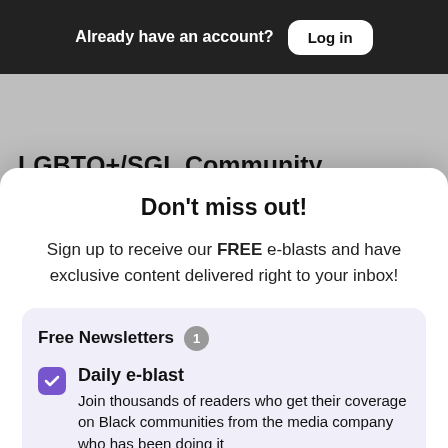Already have an account? Log in
LGBTQ+/SGL Community
August 30, 2022
Close
honors once-enslaved woman who
Don't miss out!
Sign up to receive our FREE e-blasts and have exclusive content delivered right to your inbox!
Free Newsletters 1
Daily e-blast
Join thousands of readers who get their coverage on Black communities from the media company who has been doing it